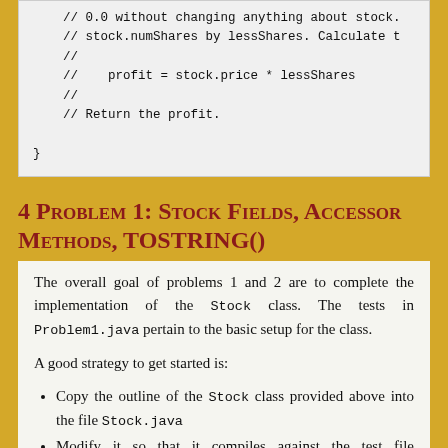[Figure (other): Code block showing Java comments: // 0.0 without changing anything about stock. // stock.numShares by lessShares. Calculate t // //    profit = stock.price * lessShares // // Return the profit. }]
4 Problem 1: Stock Fields, Accessor Methods, toString()
The overall goal of problems 1 and 2 are to complete the implementation of the Stock class. The tests in Problem1.java pertain to the basic setup for the class.
A good strategy to get started is:
Copy the outline of the Stock class provided above into the file Stock.java
Modify it so that it compiles against the test file Problem1.java by adding curly braces and returning default values like false and 0.0 where needed.